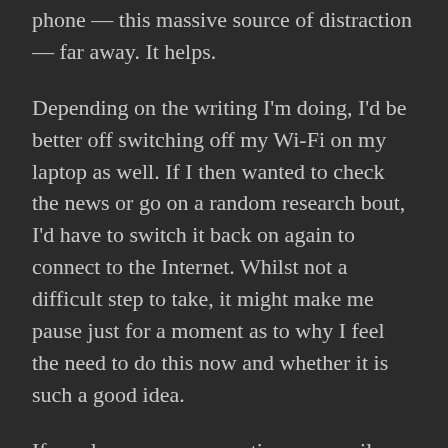phone — this massive source of distraction — far away. It helps.
Depending on the writing I'm doing, I'd be better off switching off my Wi-Fi on my laptop as well. If I then wanted to check the news or go on a random research bout, I'd have to switch it back on again to connect to the Internet. Whilst not a difficult step to take, it might make me pause just for a moment as to why I feel the need to do this now and whether it is such a good idea.
If you leave your connection on, emails are certain to pop up sooner or later and it does require a bit more of a mental effort to withstand the temptation to move over to your browser. That is what I am doing right now, and it feels very conscious. As in, my connection is active and because I am writing about this topic, the idea of